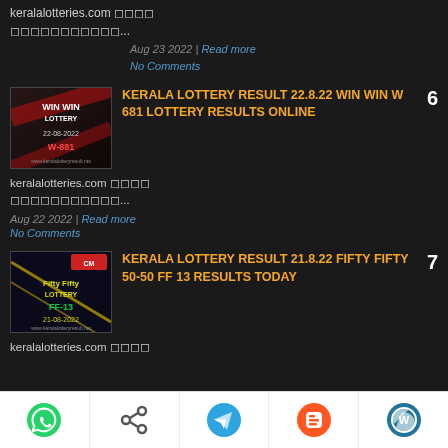keralalotteries.com അവകലത്തില്‍ ഭാഗ്യക്കിക...
Aug 23 2022 | Read more
No Comments
[Figure (photo): Win Win Lottery W-681 ticket image dated 22-08-2022]
KERALA LOTTERY RESULT 22.8.22 WIN WIN W 681 LOTTERY RESULTS ONLINE
keralalotteries.com അവകലത്തില്‍ ഭാഗ്യക്കിക...
Aug 22 2022 | Read more
No Comments
[Figure (photo): Fifty Fifty Lottery FF-13 ticket image dated 21-08-2022]
KERALA LOTTERY RESULT 21.8.22 FIFTY FIFTY 50-50 FF 13 RESULTS TODAY